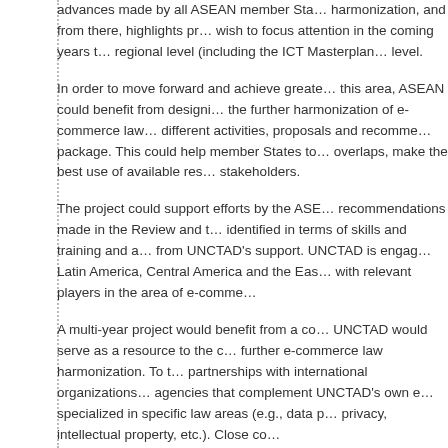advances made by all ASEAN member States on e-commerce law harmonization, and from there, highlights priority areas on which members wish to focus attention in the coming years to advance harmonization at regional level (including the ICT Masterplan at level.
In order to move forward and achieve greater harmonization and progress in this area, ASEAN could benefit from designing a roadmap or action plan for the further harmonization of e-commerce laws in the region, integrating different activities, proposals and recommendations into a comprehensive package. This could help member States to identify synergies and avoid overlaps, make the best use of available resources and better engage with stakeholders.
The project could support efforts by the ASEAN Secretariat to implement recommendations made in the Review and to address the specific gaps identified in terms of skills and training and areas that could benefit most from UNCTAD's support. UNCTAD is engaged in similar projects in Africa, Latin America, Central America and the East African Community and liaises with relevant players in the area of e-comme...
A multi-year project would benefit from a comprehensive approach, where UNCTAD would serve as a resource to the countries in the region to support further e-commerce law harmonization. To this end, UNCTAD could build partnerships with international organizations, academic institutions and agencies that complement UNCTAD's own expertise, for example those specialized in specific law areas (e.g., data p... privacy, intellectual property, etc.). Close co...